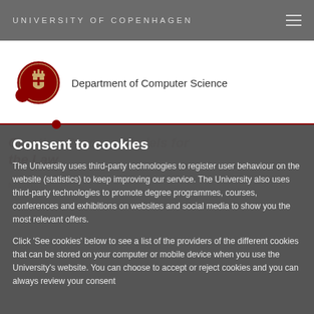UNIVERSITY OF COPENHAGEN
[Figure (logo): University of Copenhagen circular red seal/crest logo]
Department of Computer Science
Consent to cookies
The University uses third-party technologies to register user behaviour on the website (statistics) to keep improving our service. The University also uses third-party technologies to promote degree programmes, courses, conferences and exhibitions on websites and social media to show you the most relevant offers.
Click 'See cookies' below to see a list of the providers of the different cookies that can be stored on your computer or mobile device when you use the University's website. You can choose to accept or reject cookies and you can always review your consent